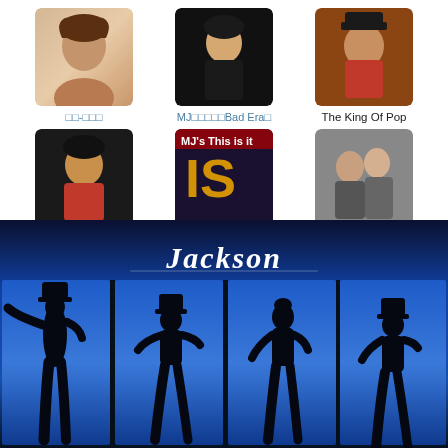[Figure (photo): Grid of 6 profile photos with labels, Facebook-style page listing for Michael Jackson fan groups]
□□-□□□
MJ□□□□□Bad Era□
The King Of Pop
The Thriller Era
MJ's This is it
the jackson 3
□□□□□ >>
[Figure (photo): Dark blue stage background with Michael Jackson silhouettes in four dance pose panels, cursive Jackson signature text overlay at top]